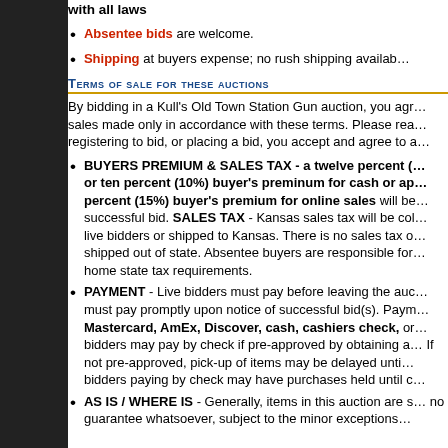with all laws
Absentee bids are welcome.
Shipping at buyers expense; no rush shipping availab…
Terms of sale for these auctions
By bidding in a Kull's Old Town Station Gun auction, you agr… sales made only in accordance with these terms. Please rea… registering to bid, or placing a bid, you accept and agree to a…
BUYERS PREMIUM & SALES TAX - a twelve percent (… or ten percent (10%) buyer's preminum for cash or ap… percent (15%) buyer's premium for online sales will be… successful bid. SALES TAX - Kansas sales tax will be col… live bidders or shipped to Kansas. There is no sales tax o… shipped out of state. Absentee buyers are responsible for… home state tax requirements.
PAYMENT - Live bidders must pay before leaving the auc… must pay promptly upon notice of successful bid(s). Paym… Mastercard, AmEx, Discover, cash, cashiers check, or… bidders may pay by check if pre-approved by obtaining a… If not pre-approved, pick-up of items may be delayed unti… bidders paying by check may have purchases held until c…
AS IS / WHERE IS - Generally, items in this auction are s… no guarantee whatsoever, subject to the minor exceptions… listed in #5 below.